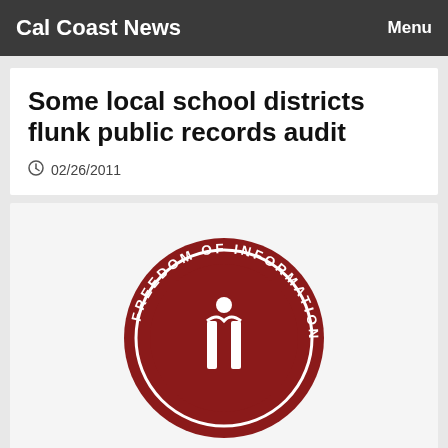Cal Coast News  Menu
Some local school districts flunk public records audit
02/26/2011
[Figure (logo): Freedom of Information circular logo — dark red circle with 'FREEDOM OF INFORMATION' text around the border and a white information 'i' symbol in the center]
By LISA RIZZO